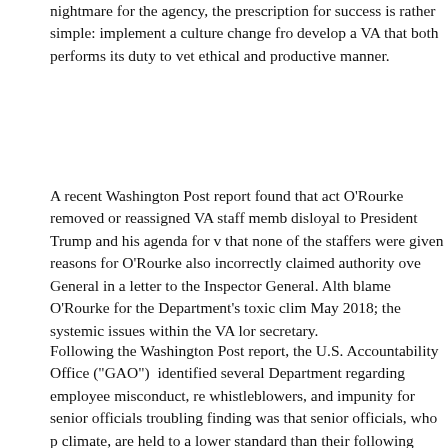nightmare for the agency, the prescription for success is rather simple: implement a culture change from within to develop a VA that both performs its duty to veterans in an ethical and productive manner.
A recent Washington Post report found that acting secretary O'Rourke removed or reassigned VA staff members deemed disloyal to President Trump and his agenda for veterans, and that none of the staffers were given reasons for their removal. O'Rourke also incorrectly claimed authority over the Inspector General in a letter to the Inspector General. Although one may blame O'Rourke for the Department's toxic climate, he resigned in May 2018; the systemic issues within the VA long predate a single secretary.
Following the Washington Post report, the U.S. Government Accountability Office ("GAO") identified several issues within the Department regarding employee misconduct, retaliation against whistleblowers, and impunity for senior officials. The most troubling finding was that senior officials, who perpetuate a toxic climate, are held to a lower standard than their subordinates. The following figure shows the outcomes of seventeen misconduct cases against senior officials where disciplinary or ad...